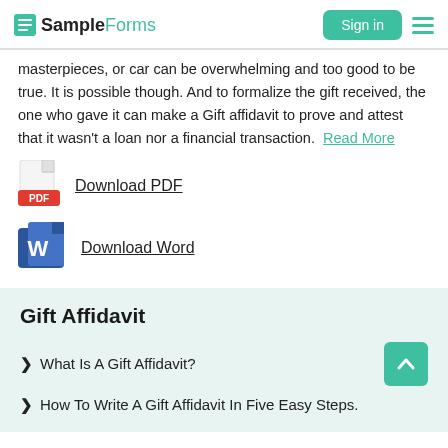SampleForms | Sign in
masterpieces, or car can be overwhelming and too good to be true. It is possible though. And to formalize the gift received, the one who gave it can make a Gift affidavit to prove and attest that it wasn't a loan nor a financial transaction. Read More
[Figure (illustration): PDF file icon with red PDF label]
Download PDF
[Figure (illustration): Microsoft Word file icon with blue W logo]
Download Word
Gift Affidavit
What Is A Gift Affidavit?
How To Write A Gift Affidavit In Five Easy Steps.